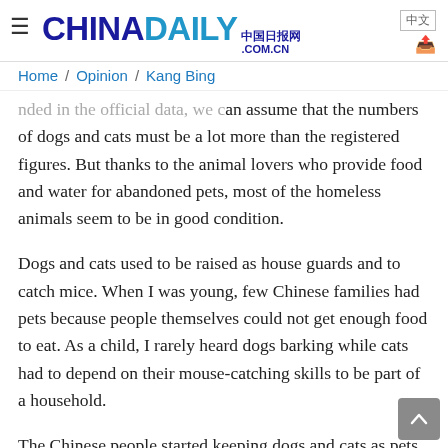≡ CHINADAILY 中国日报网 COM.CN 中文
Home / Opinion / Kang Bing
assume that the numbers of dogs and cats must be a lot more than the registered figures. But thanks to the animal lovers who provide food and water for abandoned pets, most of the homeless animals seem to be in good condition.
Dogs and cats used to be raised as house guards and to catch mice. When I was young, few Chinese families had pets because people themselves could not get enough food to eat. As a child, I rarely heard dogs barking while cats had to depend on their mouse-catching skills to be part of a household.
The Chinese people started keeping dogs and cats as pets